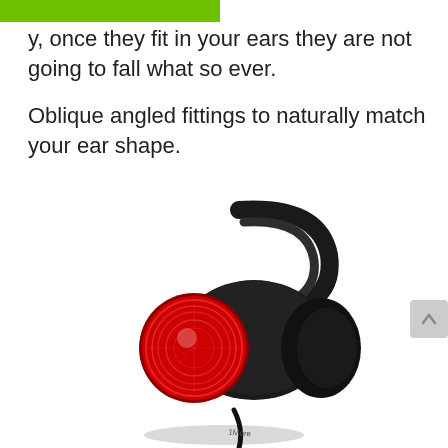y, once they fit in your ears they are not going to fall what so ever.

Oblique angled fittings to naturally match your ear shape.
[Figure (photo): A black and red in-ear earbud/earphone with an ear hook, showing a red metallic circular disc on the side and a black silicone ear tip, with a cable attached at the bottom. The 1More brand logo is visible on the cable.]